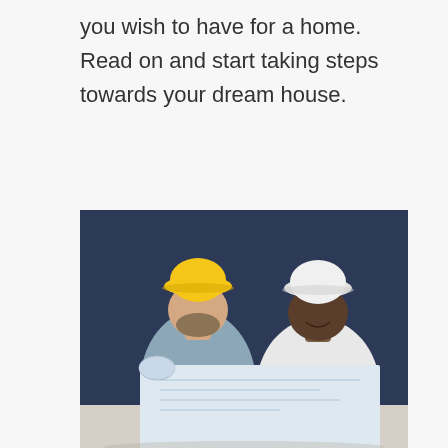you wish to have for a home. Read on and start taking steps towards your dream house.
[Figure (photo): Two construction workers wearing hard hats (one yellow, one white) looking at blueprints together against a dark blue wall background.]